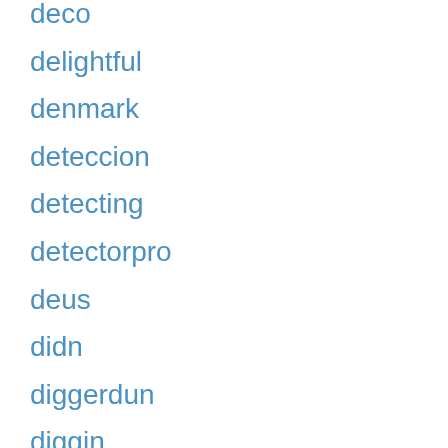deco
delightful
denmark
deteccion
detecting
detectorpro
deus
didn
diggerdun
diggin
digs
dirt
dishwasher
divine
dolphin
dominick
double